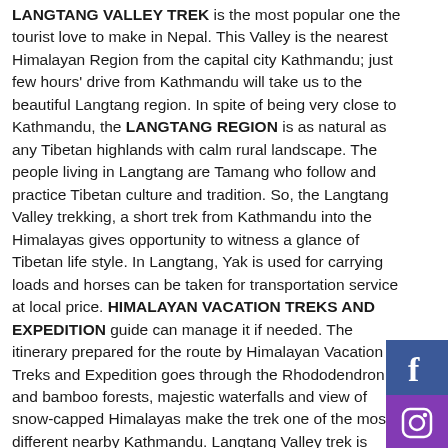LANGTANG VALLEY TREK is the most popular one the tourist love to make in Nepal. This Valley is the nearest Himalayan Region from the capital city Kathmandu; just few hours' drive from Kathmandu will take us to the beautiful Langtang region. In spite of being very close to Kathmandu, the LANGTANG REGION is as natural as any Tibetan highlands with calm rural landscape. The people living in Langtang are Tamang who follow and practice Tibetan culture and tradition. So, the Langtang Valley trekking, a short trek from Kathmandu into the Himalayas gives opportunity to witness a glance of Tibetan life style. In Langtang, Yak is used for carrying loads and horses can be taken for transportation service at local price. HIMALAYAN VACATION TREKS AND EXPEDITION guide can manage it if needed. The itinerary prepared for the route by Himalayan Vacation Treks and Expedition goes through the Rhododendron and bamboo forests, majestic waterfalls and view of snow-capped Himalayas make the trek one of the most different nearby Kathmandu. Langtang Valley trek is under the control of Langtang National Park.
Langtang Valley Trek starts with a day's bus ride from Kathmandu to Syabrubesi. We begin the walk from Syabrubesi. We head upward to Lama Hotel and Langtang village until we arrive at the famous Kyanjing Gompa. After exploring the...
[Figure (other): Facebook social media icon button (blue background with white 'f' icon)]
[Figure (other): Instagram social media icon button (purple background with white camera icon)]